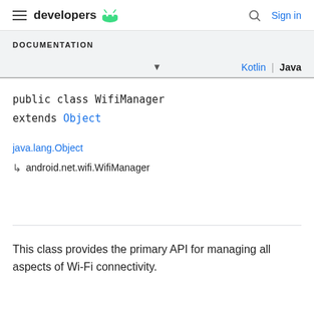developers  Sign in
DOCUMENTATION
Kotlin  |  Java
java.lang.Object
↳  android.net.wifi.WifiManager
This class provides the primary API for managing all aspects of Wi-Fi connectivity.